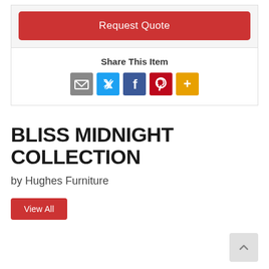[Figure (screenshot): Red 'Request Quote' button]
Share This Item
[Figure (infographic): Social share icons: email (grey), Twitter (blue), Facebook (dark blue), Pinterest (red), More (orange)]
BLISS MIDNIGHT COLLECTION
by Hughes Furniture
[Figure (screenshot): Red 'View All' button]